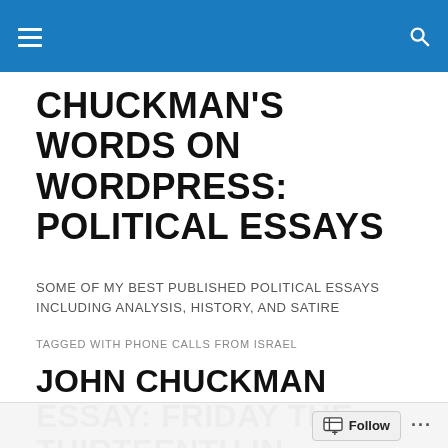CHUCKMAN'S WORDS ON WORDPRESS: POLITICAL ESSAYS
SOME OF MY BEST PUBLISHED POLITICAL ESSAYS INCLUDING ANALYSIS, HISTORY, AND SATIRE
TAGGED WITH PHONE CALLS FROM ISRAEL
JOHN CHUCKMAN ESSAY: FRIDAY THE THIRTEENTH IN PARIS AND HEISE...